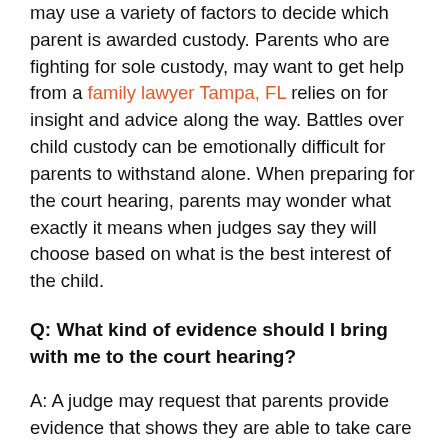may use a variety of factors to decide which parent is awarded custody. Parents who are fighting for sole custody, may want to get help from a family lawyer Tampa, FL relies on for insight and advice along the way. Battles over child custody can be emotionally difficult for parents to withstand alone. When preparing for the court hearing, parents may wonder what exactly it means when judges say they will choose based on what is the best interest of the child.
Q: What kind of evidence should I bring with me to the court hearing?
A: A judge may request that parents provide evidence that shows they are able to take care of the child's physical, mental, and emotional needs. For example, a parent must show they can pay for things like food, shelter, proper fitted clothing, education and medical care, in addition to consistent loving support, and guidance. Both the parent's mental and physical health may be a factor when determining child custody arrangements.